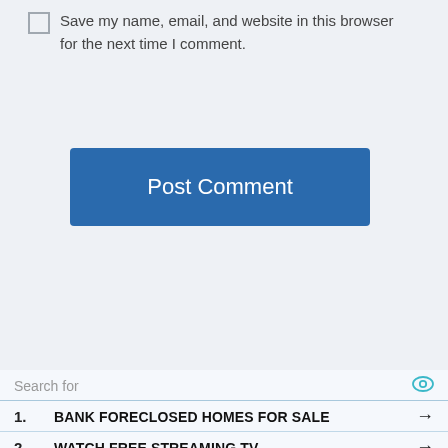Save my name, email, and website in this browser for the next time I comment.
Post Comment
Search for
1. BANK FORECLOSED HOMES FOR SALE →
2. WATCH FREE STREAMING TV →
Ad | Business Focus